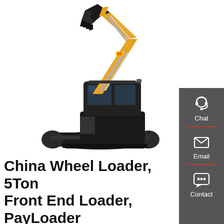[Figure (photo): A yellow and black mini excavator (crawler excavator) with arm extended upward, on a white background. The machine has rubber tracks, a cab, and a bucket attachment.]
[Figure (infographic): Dark gray sidebar panel on the right side with three contact options: Chat (headset icon), Email (envelope icon), and Contact (speech bubble with dots icon), separated by red horizontal dividers.]
China Wheel Loader, 5Ton Front End Loader, PayLoader
Jul 20, 2021 · Wheel Loader,5 ton Front end loader, XGMA Brand, XG955H US$ 40000 - 45000 / Unit 1 Unit Minimum Order Inquire Now Wheel Loader, 3